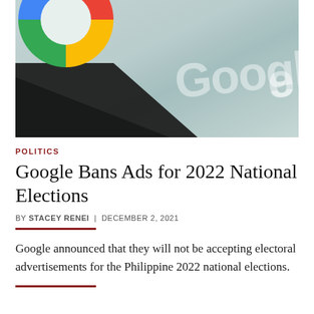[Figure (photo): Close-up photo of a smartphone screen showing the Google app icon with the colorful Google logo circle and the word 'Google' visible on a light blue-grey background, with a dark diagonal shadow across the lower left portion of the screen.]
POLITICS
Google Bans Ads for 2022 National Elections
BY STACEY RENEI  |  DECEMBER 2, 2021
Google announced that they will not be accepting electoral advertisements for the Philippine 2022 national elections.